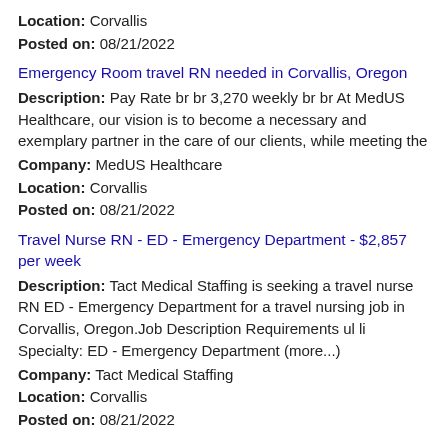Location: Corvallis
Posted on: 08/21/2022
Emergency Room travel RN needed in Corvallis, Oregon
Description: Pay Rate br br 3,270 weekly br br At MedUS Healthcare, our vision is to become a necessary and exemplary partner in the care of our clients, while meeting the
Company: MedUS Healthcare
Location: Corvallis
Posted on: 08/21/2022
Travel Nurse RN - ED - Emergency Department - $2,857 per week
Description: Tact Medical Staffing is seeking a travel nurse RN ED - Emergency Department for a travel nursing job in Corvallis, Oregon.Job Description Requirements ul li Specialty: ED - Emergency Department (more...)
Company: Tact Medical Staffing
Location: Corvallis
Posted on: 08/21/2022
Salary in Eugene, Oregon Area | More details for Eugene, Oregon Jobs |Salary